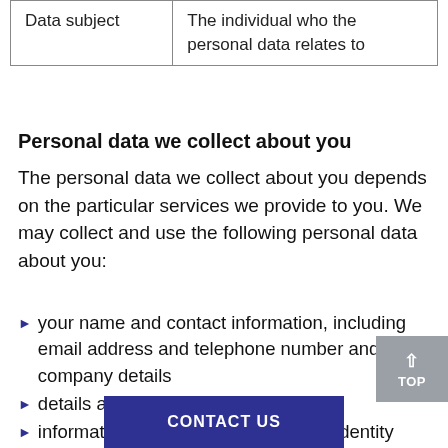| Data subject | The individual who the personal data relates to |
Personal data we collect about you
The personal data we collect about you depends on the particular services we provide to you. We may collect and use the following personal data about you:
your name and contact information, including email address and telephone number and company details
details about your employer
information to check and verify your identity
your gender, if you choose to give this to us
your billing information, transaction and